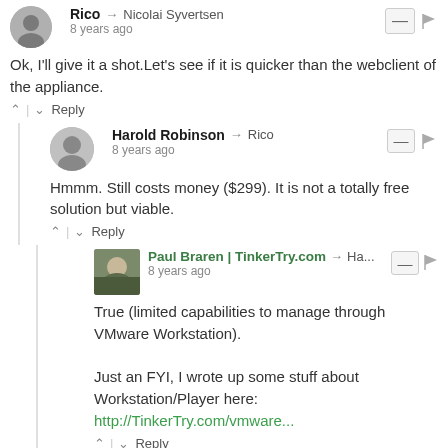Rico → Nicolai Syvertsen
8 years ago
Ok, I'll give it a shot.Let's see if it is quicker than the webclient of the appliance.
^ | ∨  Reply
Harold Robinson → Rico
8 years ago
Hmmm. Still costs money ($299). It is not a totally free solution but viable.
^ | ∨  Reply
Paul Braren | TinkerTry.com → Ha...
8 years ago
True (limited capabilities to manage through VMware Workstation).

Just an FYI, I wrote up some stuff about Workstation/Player here:
http://TinkerTry.com/vmware...
^ | ∨  Reply